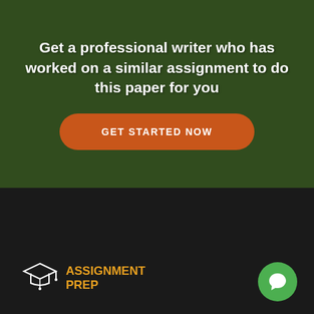Get a professional writer who has worked on a similar assignment to do this paper for you
GET STARTED NOW
[Figure (logo): Assignment Prep logo with graduation cap icon and orange text reading ASSIGNMENT PREP]
[Figure (illustration): Green circular chat bubble button with white speech bubble icon]